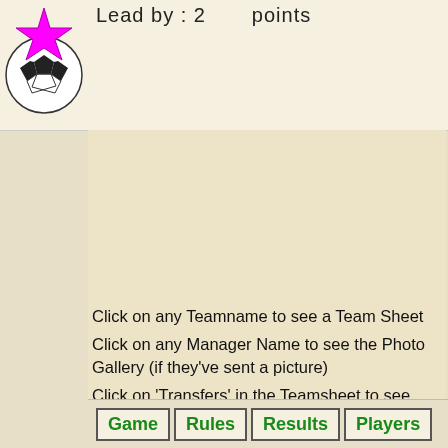[Figure (illustration): Soccer ball star graphic with pink/magenta star shape and soccer ball behind it, in top-left corner]
Lead by : 2        points
[Figure (illustration): Vertical column of soccer ball icons along the left side of the page]
Click on any Teamname to see a Team Sheet
Click on any Manager Name to see the Photo Gallery (if they've sent a picture)
Click on 'Transfers' in the Teamsheet to see your changes this season
Game   Rules   Results   Players